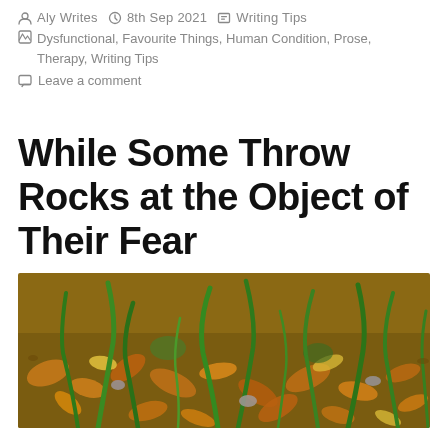Aly Writes  8th Sep 2021  Writing Tips
Dysfunctional, Favourite Things, Human Condition, Prose, Therapy, Writing Tips
Leave a comment
While Some Throw Rocks at the Object of Their Fear
[Figure (photo): Close-up photograph of grass blades and autumn leaves on the ground, showing green grass shoots amid brown fallen leaves and small rocks on soil.]